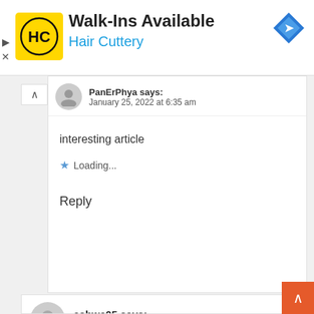[Figure (logo): Hair Cuttery advertisement banner with HC logo, text 'Walk-Ins Available' and 'Hair Cuttery', with navigation icon on right]
PanErPhya says:
January 25, 2022 at 6:35 am
interesting article
Loading...
Reply
ashwe05 says:
January 25, 2022 at 8:22 am